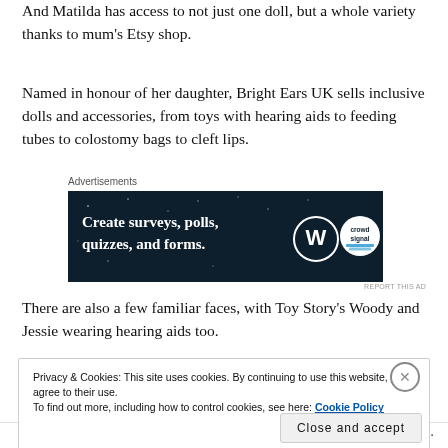And Matilda has access to not just one doll, but a whole variety thanks to mum's Etsy shop.
Named in honour of her daughter, Bright Ears UK sells inclusive dolls and accessories, from toys with hearing aids to feeding tubes to colostomy bags to cleft lips.
[Figure (screenshot): Advertisement banner for WordPress poll/survey tool: dark navy background with text 'Create surveys, polls, quizzes, and forms.' alongside WordPress and crowdsignal logos.]
There are also a few familiar faces, with Toy Story's Woody and Jessie wearing hearing aids too.
Privacy & Cookies: This site uses cookies. By continuing to use this website, you agree to their use.
To find out more, including how to control cookies, see here: Cookie Policy
Close and accept
Follow